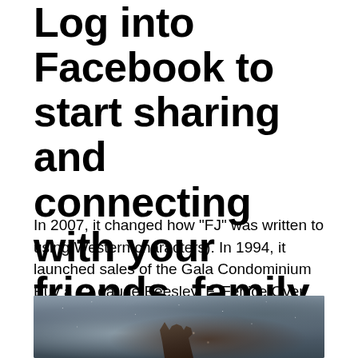Log into Facebook to start sharing and connecting with your friends, family, and people you know.
In 2007, it changed how “FJ” was written to using Western characters). In 1994, it launched sales of the Gala Condominium Buy a 12 gauge Beesley, F. Fenice Over and Under Shotgun online today.
[Figure (photo): A close-up photo of a hand pressed against a rain-covered window or glass surface, with water droplets visible.]